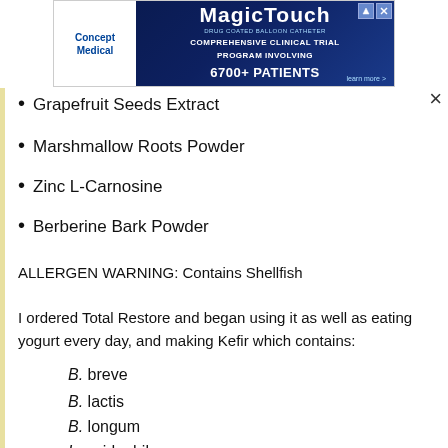[Figure (advertisement): MagicTouch ad banner by Concept Medical: Comprehensive Clinical Trial Program Involving 6700+ Patients]
Grapefruit Seeds Extract
Marshmallow Roots Powder
Zinc L-Carnosine
Berberine Bark Powder
ALLERGEN WARNING: Contains Shellfish
I ordered Total Restore and began using it as well as eating yogurt every day, and making Kefir which contains:
B. breve
B. lactis
B. longum
L. acidophilus